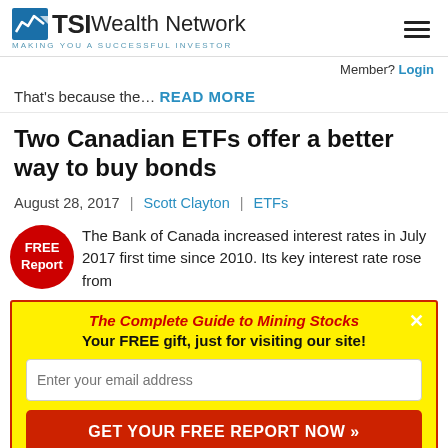TSI Wealth Network — MAKING YOU A SUCCESSFUL INVESTOR
Member? Login
That's because the… READ MORE
Two Canadian ETFs offer a better way to buy bonds
August 28, 2017 | Scott Clayton | ETFs
The Bank of Canada increased interest rates in July 2017 first time since 2010. Its key interest rate rose from
[Figure (infographic): Red circular badge with text FREE Report]
The Complete Guide to Mining Stocks — Your FREE gift, just for visiting our site! [email input] GET YOUR FREE REPORT NOW »